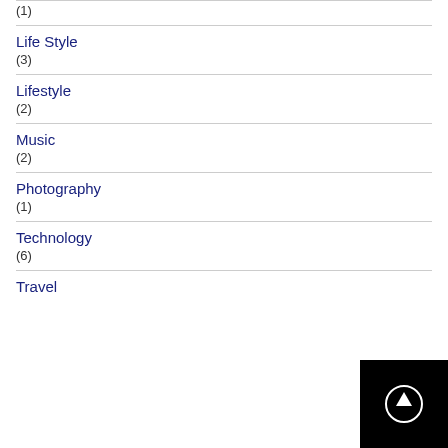(1)
Life Style
(3)
Lifestyle
(2)
Music
(2)
Photography
(1)
Technology
(6)
Travel